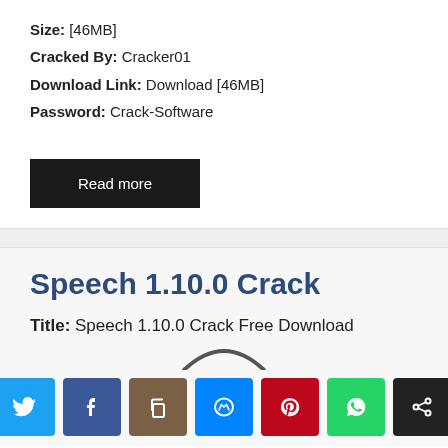Size: [46MB]
Cracked By: Cracker01
Download Link: Download [46MB]
Password: Crack-Software
Read more
Speech 1.10.0 Crack
Title: Speech 1.10.0 Crack Free Download